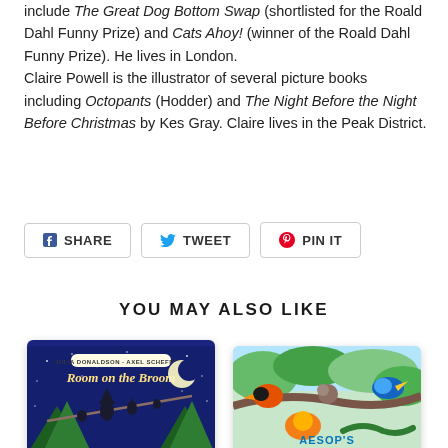include The Great Dog Bottom Swap (shortlisted for the Roald Dahl Funny Prize) and Cats Ahoy! (winner of the Roald Dahl Funny Prize). He lives in London.
Claire Powell is the illustrator of several picture books including Octopants (Hodder) and The Night Before the Night Before Christmas by Kes Gray. Claire lives in the Peak District.
SHARE   TWEET   PIN IT
YOU MAY ALSO LIKE
[Figure (photo): Book cover of Room on the Broom by Julia Donaldson and Axel Scheffler — dark blue night sky background with title in yellow italic text and characters on a broomstick]
[Figure (photo): Book cover of Aesop's Fables — colorful illustrated cover with animals in a jungle setting]